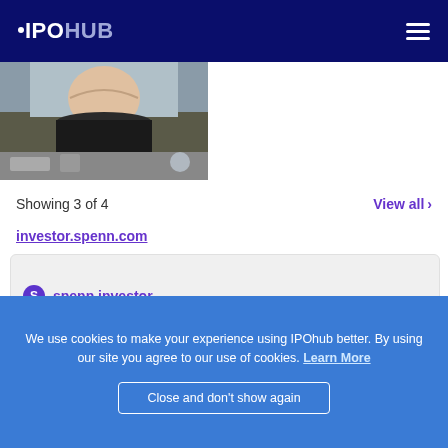IPOHUB
[Figure (photo): Partial photo of a smiling blonde woman in a dark top, taken in an office/atrium setting]
Showing 3 of 4
View all >
investor.spenn.com
[Figure (screenshot): Partially visible card with an icon and partial text]
We use cookies to make your experience using IPOhub better. By using our site you agree to our use of cookies. Learn More
Close and don't show again